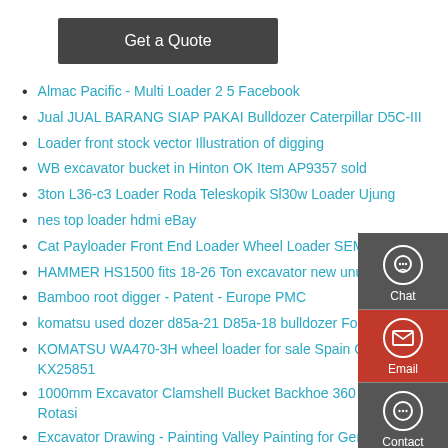[Figure (other): Dark grey 'Get a Quote' button]
Almac Pacific - Multi Loader 2 5 Facebook
Jual JUAL BARANG SIAP PAKAI Bulldozer Caterpillar D5C-III
Loader front stock vector Illustration of digging
WB excavator bucket in Hinton OK Item AP9357 sold
3ton L36-c3 Loader Roda Teleskopik Sl30w Loader Ujung
nes top loader hdmi eBay
Cat Payloader Front End Loader Wheel Loader SEM Brand
HAMMER HS1500 fits 18-26 Ton excavator new unused
Bamboo root digger - Patent - Europe PMC
komatsu used dozer d85a-21 D85a-18 bulldozer For Sale
KOMATSU WA470-3H wheel loader for sale Spain Ocean KX25851
1000mm Excavator Clamshell Bucket Backhoe 360 Derajat Rotasi
Excavator Drawing - Painting Valley Painting for Generations
[Figure (other): Dark sidebar with Chat, Email, and Contact icons and labels]